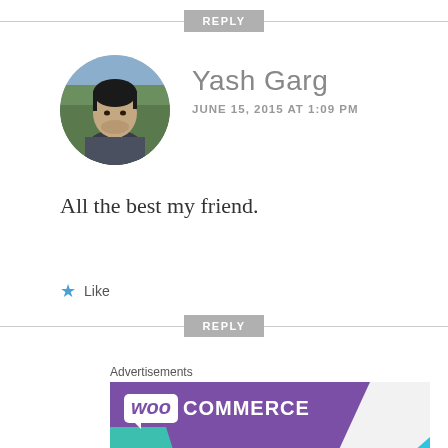REPLY
[Figure (photo): Circular avatar photo of Yash Garg, a man with dark hair outdoors in a mountain setting]
Yash Garg
JUNE 15, 2015 AT 1:09 PM
All the best my friend.
★ Like
REPLY
Advertisements
[Figure (logo): WooCommerce advertisement banner with purple diagonal background and WooCommerce logo in white text]